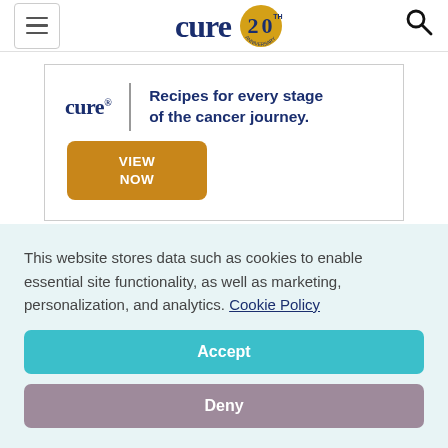[Figure (logo): CURE 20th anniversary logo with hamburger menu and search icon in header navigation bar]
[Figure (infographic): CURE advertisement banner: 'Recipes for every stage of the cancer journey.' with VIEW NOW button in gold/orange]
This website stores data such as cookies to enable essential site functionality, as well as marketing, personalization, and analytics. Cookie Policy
Accept
Deny